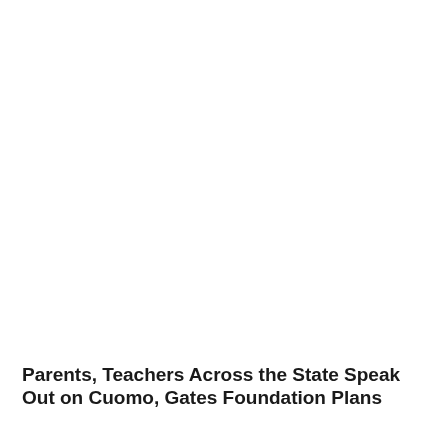Parents, Teachers Across the State Speak Out on Cuomo, Gates Foundation Plans